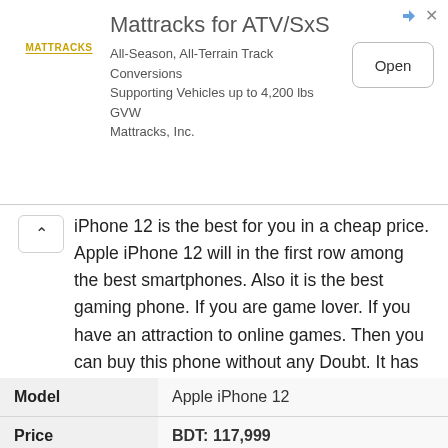[Figure (screenshot): Advertisement banner for Mattracks for ATV/SxS. Shows logo area, title 'Mattracks for ATV/SxS', subtitle text 'All-Season, All-Terrain Track Conversions Supporting Vehicles up to 4,200 lbs GVW Mattracks, Inc.', and an 'Open' button. Arrow and X icons in top right.]
iPhone 12 is the best for you in a cheap price. Apple iPhone 12 will in the first row among the best smartphones. Also it is the best gaming phone. If you are game lover. If you have an attraction to online games. Then you can buy this phone without any Doubt. It has good battery backup and Super Retina XDR OLED, HDR10+, 625 nits (typ), 1200 nits (peak) display.
| Model |  |
| --- | --- |
| Model | Apple iPhone 12 |
| Price | BDT: 117,999 |
| RAM | 4 GB |
| ROM | 64/128/256 GB |
| Display | 6.1" 1170×2532 pixels |